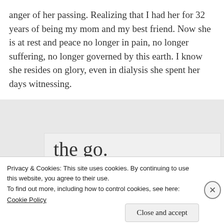anger of her passing. Realizing that I had her for 32 years of being my mom and my best friend. Now she is at rest and peace no longer in pain, no longer suffering, no longer governed by this earth. I know she resides on glory, even in dialysis she spent her days witnessing.
[Figure (screenshot): Advertisement banner showing 'the go.' in large serif text with 'GET THE APP' in blue uppercase letters and a WordPress logo icon]
Privacy & Cookies: This site uses cookies. By continuing to use this website, you agree to their use.
To find out more, including how to control cookies, see here: Cookie Policy
Close and accept